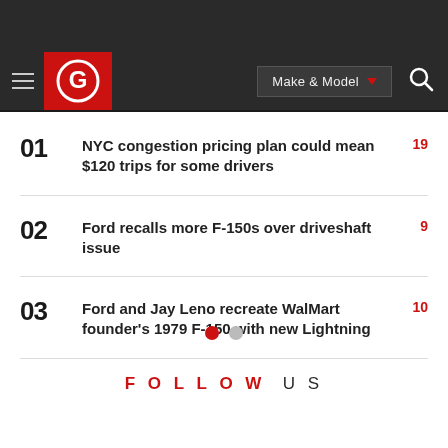[Figure (logo): Carfax-style red logo with circular G icon on red background, hamburger menu, Make & Model dropdown button, and search icon in dark navigation bar]
01  NYC congestion pricing plan could mean $120 trips for some drivers  19
02  Ford recalls more F-150s over driveshaft issue  9
03  Ford and Jay Leno recreate WalMart founder's 1979 F-150 with new Lightning  10
FOLLOW US